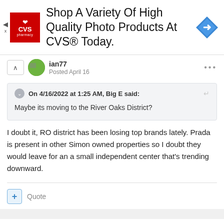[Figure (screenshot): CVS Pharmacy advertisement banner: red CVS logo on left, text 'Shop A Variety Of High Quality Photo Products At CVS® Today.' in center, blue diamond navigation icon on right.]
ian77
Posted April 16
On 4/16/2022 at 1:25 AM, Big E said:
Maybe its moving to the River Oaks District?
I doubt it, RO district has been losing top brands lately. Prada is present in other Simon owned properties so I doubt they would leave for an a small independent center that's trending downward.
Quote